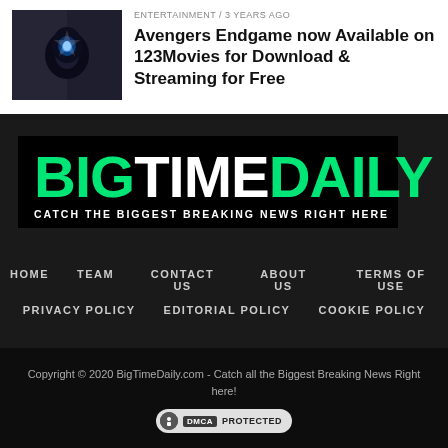[Figure (photo): Thumbnail image showing a dark scene, possibly from Avengers Endgame, with blue light glow]
ENTERTAINMENT / 3 years ago
Avengers Endgame now Available on 123Movies for Download & Streaming for Free
[Figure (logo): BigTimeDaily logo — BIG in green, TIME in white, DAILY in green, on black background with tagline CATCH THE BIGGEST BREAKING NEWS RIGHT HERE]
HOME
TEAM
CONTACT US
ABOUT US
TERMS OF USE
PRIVACY POLICY
EDITORIAL POLICY
COOKIE POLICY
Copyright © 2020 BigTimeDaily.com - Catch all the Biggest Breaking News Right here!